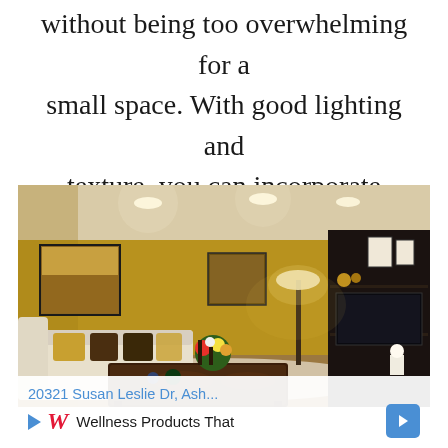without being too overwhelming for a small space. With good lighting and texture, you can incorporate earthy colors without drabness.
[Figure (photo): Interior photo of a modern living room with earthy golden-yellow walls, cream sectional sofa with brown and gold throw pillows, a dark brown leather ottoman coffee table with flower arrangement and decorative items, a floor lamp, dark bookshelf/entertainment unit with flat-screen TV on the right, and artwork on the walls. The room has recessed ceiling lights.]
20321 Susan Leslie Dr, Ash... Wellness Products That